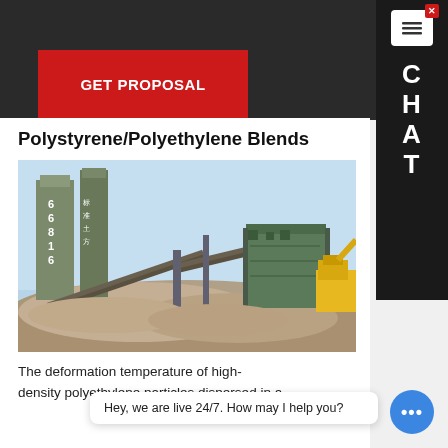Polystyrene/Polyethylene Blends
[Figure (photo): Industrial facility with silos, conveyors, and piles of aggregate/gravel material, with a green building structure and yellow excavator visible in background]
The deformat density polyethylene particles dispersed in a
Hey, we are live 24/7. How may I help you?